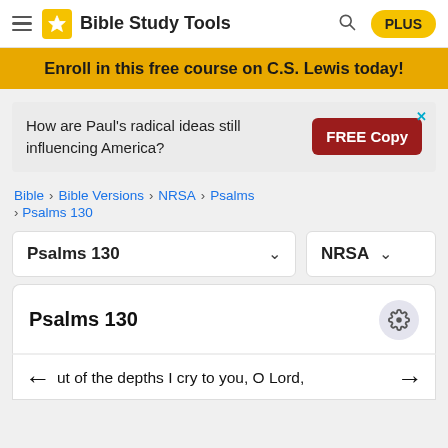Bible Study Tools | PLUS
Enroll in this free course on C.S. Lewis today!
[Figure (screenshot): Advertisement banner: 'How are Paul's radical ideas still influencing America?' with a red FREE Copy button and an X close icon]
Bible > Bible Versions > NRSA > Psalms > Psalms 130
Psalms 130
NRSA
Psalms 130
out of the depths I cry to you, O Lord,